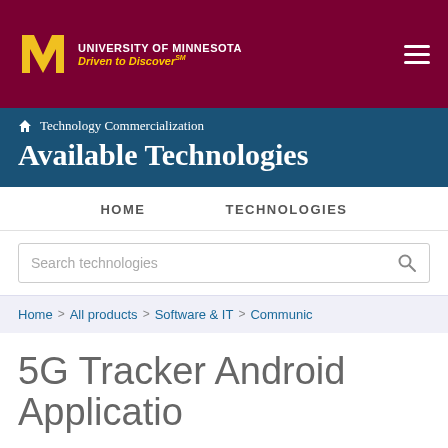UNIVERSITY OF MINNESOTA Driven to Discover
Available Technologies
Technology Commercialization
HOME   TECHNOLOGIES
Search technologies
Home > All products > Software & IT > Communic
5G Tracker Android Application